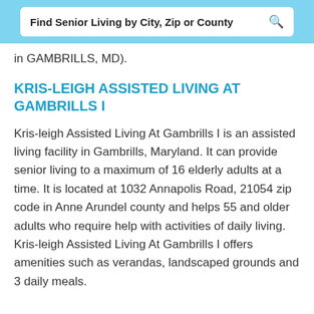Find Senior Living by City, Zip or County
in GAMBRILLS, MD).
KRIS-LEIGH ASSISTED LIVING AT GAMBRILLS I
Kris-leigh Assisted Living At Gambrills I is an assisted living facility in Gambrills, Maryland. It can provide senior living to a maximum of 16 elderly adults at a time. It is located at 1032 Annapolis Road, 21054 zip code in Anne Arundel county and helps 55 and older adults who require help with activities of daily living. Kris-leigh Assisted Living At Gambrills I offers amenities such as verandas, landscaped grounds and 3 daily meals.